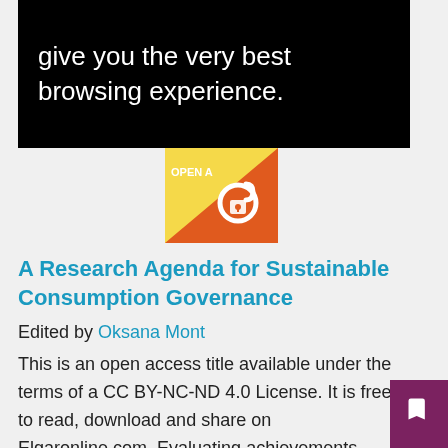give you the very best browsing experience.
[Figure (logo): Open Access badge — orange and yellow diagonal with open lock icon and text OPEN A]
A Research Agenda for Sustainable Consumption Governance
Edited by Oksana Mont
This is an open access title available under the terms of a CC BY-NC-ND 4.0 License. It is free to read, download and share on Elgaronline.com. Evaluating achievements, challenges and future avenues for research, this book explores how new dimensions of knowledge and practice contest, reshape and advance traditional understandings of sustainabl
... Show More